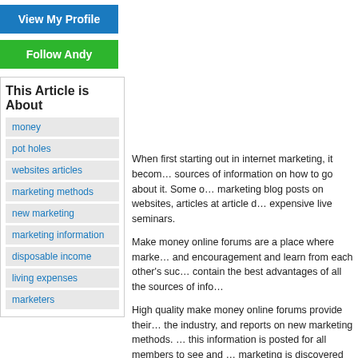[Figure (other): Blue 'View My Profile' button]
[Figure (other): Green 'Follow Andy' button]
This Article is About
money
pot holes
websites articles
marketing methods
new marketing
marketing information
disposable income
living expenses
marketers
When first starting out in internet marketing, it becom… sources of information on how to go about it. Some o… marketing blog posts on websites, articles at article d… expensive live seminars.
Make money online forums are a place where marke… and encouragement and learn from each other's suc… contain the best advantages of all the sources of info…
High quality make money online forums provide their… the industry, and reports on new marketing methods. … this information is posted for all members to see and … marketing is discovered and tested, members of the … members at a reduced price or before the general pu…
The advantage of make money online forums over th… afford to pay a huge entrance fee as well as travel ex… there. Many marketers starting out are struggling fina… it. Or maybe they have already spent too much of the…